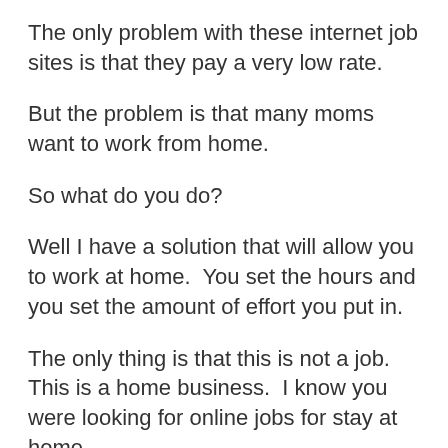The only problem with these internet job sites is that they pay a very low rate.
But the problem is that many moms want to work from home.
So what do you do?
Well I have a solution that will allow you to work at home.  You set the hours and you set the amount of effort you put in.
The only thing is that this is not a job.  This is a home business.  I know you were looking for online jobs for stay at home